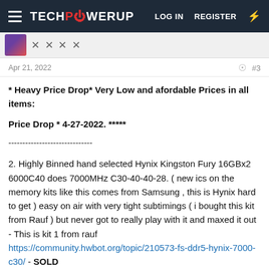TECHPOWERUP  LOG IN  REGISTER
Apr 21, 2022  #3
* Heavy Price Drop* Very Low and afordable Prices in all items:
Price Drop * 4-27-2022. *****
------------------------------
2. Highly Binned hand selected Hynix Kingston Fury 16GBx2 6000C40 does 7000MHz C30-40-40-28. ( new ics on the memory kits like this comes from Samsung , this is Hynix hard to get ) easy on air with very tight subtimings ( i bought this kit from Rauf ) but never got to really play with it and maxed it out - This is kit 1 from rauf https://community.hwbot.org/topic/210573-fs-ddr5-hynix-7000-c30/ - SOLD